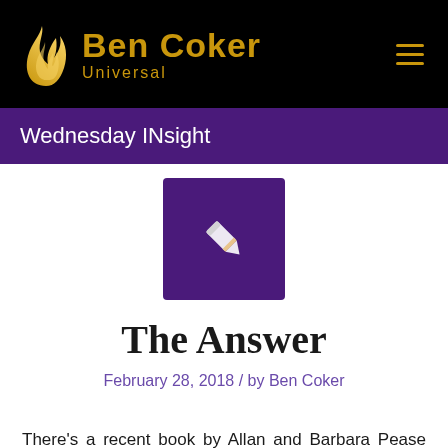[Figure (logo): Ben Coker Universal logo with golden flame and text on black background, with hamburger menu icon]
Wednesday INsight
[Figure (illustration): Purple square box with white pencil/edit icon]
The Answer
February 28, 2018 / by Ben Coker
There's a recent book by Allan and Barbara Pease called “The Answer – How to take charge